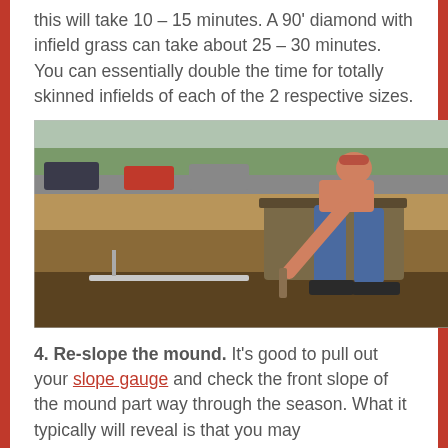this will take 10 – 15 minutes. A 90' diamond with infield grass can take about 25 – 30 minutes. You can essentially double the time for totally skinned infields of each of the 2 respective sizes.
[Figure (photo): A person bending over and using a slope gauge tool on a dirt baseball mound, with a front-end loader bucket visible in the background and cars parked on a street behind.]
4. Re-slope the mound. It's good to pull out your slope gauge and check the front slope of the mound part way through the season. What it typically will reveal is that you may